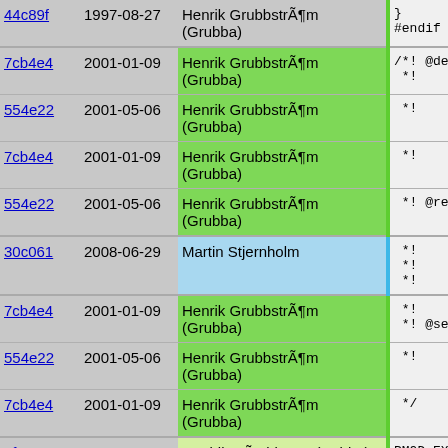| hash | date | author | code |
| --- | --- | --- | --- |
| 44c89f | 1997-08-27 | Henrik GrubbstrÃ¶m (Grubba) | }
#endif /* |
| 7cb4e4 | 2001-01-09 | Henrik GrubbstrÃ¶m (Grubba) | /*! @decl
 *! |
| 554e22 | 2001-05-06 | Henrik GrubbstrÃ¶m (Grubba) | *!      Find |
| 7cb4e4 | 2001-01-09 | Henrik GrubbstrÃ¶m (Grubba) | *! |
| 554e22 | 2001-05-06 | Henrik GrubbstrÃ¶m (Grubba) | *! @retur |
| 30c061 | 2008-06-29 | Martin Stjernholm | *!      This
*!      non-
*!      othe |
| 7cb4e4 | 2001-01-09 | Henrik GrubbstrÃ¶m (Grubba) | *!
*! @seeal |
| 554e22 | 2001-05-06 | Henrik GrubbstrÃ¶m (Grubba) | *!      @[in |
| 7cb4e4 | 2001-01-09 | Henrik GrubbstrÃ¶m (Grubba) | */ |
| 1f2133 | 2000-07-28 | Fredrik HÃ¼binette (Hubbe) | PMOD_EXPOR |
| ef5b9e | 1997-10-07 | Fredrik HÃ¼binette (Hubbe) | {
  struct o
  struct p
  int ret;

  get_all_
 |